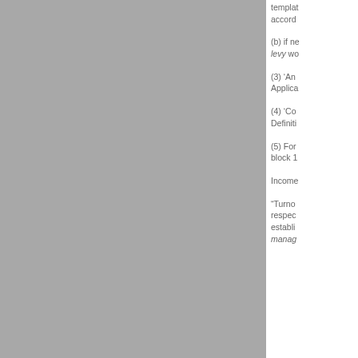templated accord
(b) if ne levy wo
(3) 'An Applica
(4) 'Co Definiti
(5) For block 1
Income
“Turno respec establi manag